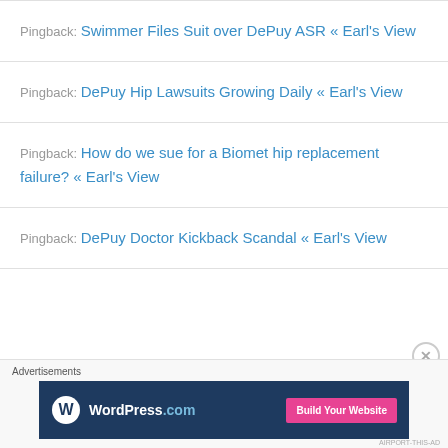Pingback: Swimmer Files Suit over DePuy ASR « Earl's View
Pingback: DePuy Hip Lawsuits Growing Daily « Earl's View
Pingback: How do we sue for a Biomet hip replacement failure? « Earl's View
Pingback: DePuy Doctor Kickback Scandal « Earl's View
[Figure (screenshot): WordPress.com advertisement banner with 'Build Your Website' button]